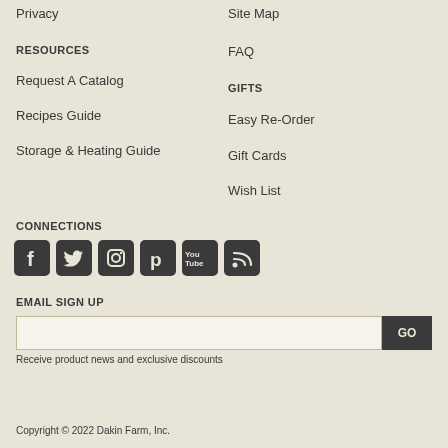Privacy
Site Map
RESOURCES
FAQ
Request A Catalog
GIFTS
Recipes Guide
Easy Re-Order
Storage & Heating Guide
Gift Cards
Wish List
CONNECTIONS
[Figure (infographic): Social media icons: Facebook, Twitter, Instagram, Pinterest, YouTube, RSS]
EMAIL SIGN UP
Receive product news and exclusive discounts
Copyright © 2022 Dakin Farm, Inc.